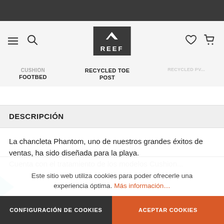REEF — navigation bar with hamburger, search, logo, heart, and cart icons
FOOTBED   RECYCLED TOE POST
DESCRIPCIÓN
La chancleta Phantom, uno de nuestros grandes éxitos de ventas, ha sido diseñada para la playa. Cuenta con el tratamiento de los modelos Cushion...
Este sitio web utiliza cookies para poder ofrecerle una experiencia óptima. Más información…
CONFIGURACIÓN DE COOKIES   ACEPTAR COOKIES